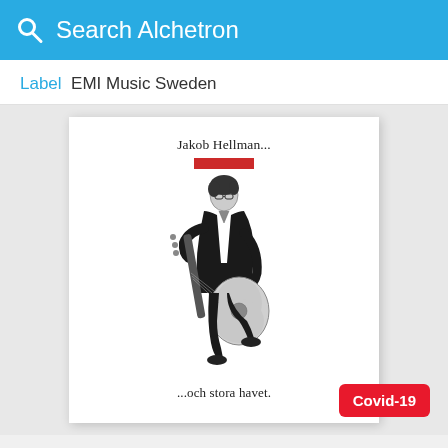Search Alchetron
Label  EMI Music Sweden
[Figure (photo): Album cover of Jakob Hellman '...och stora havet.' showing a young man in black jacket holding an acoustic guitar, black and white photo, with 'Jakob Hellman...' text at top and a red bar, and '...och stora havet.' text at bottom.]
Covid-19